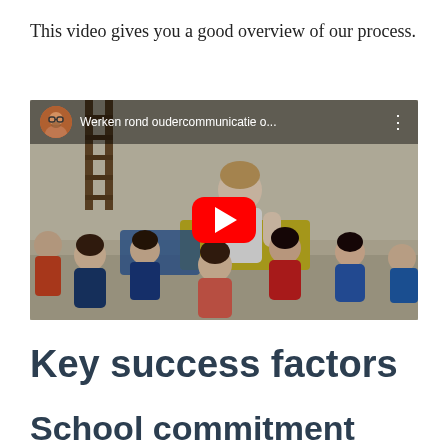This video gives you a good overview of our process.
[Figure (screenshot): YouTube video embed showing a teacher with a group of young children in a gym/classroom setting. The video is titled 'Werken rond oudercommunicatie o...' with a red play button overlay and a YouTube-style top bar with a circular avatar thumbnail.]
Key success factors
School commitment